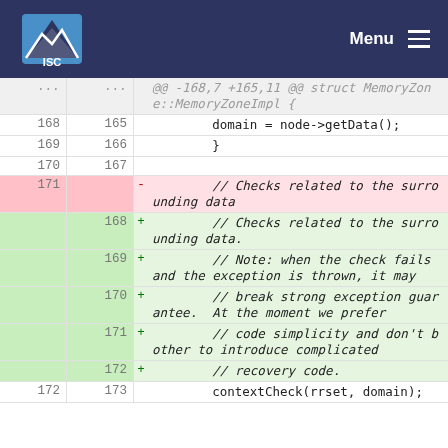ISC Menu
[Figure (screenshot): Code diff showing changes to MemoryZone::MemoryZoneImpl struct. Lines 168-172 old, 165-173 new. Removed line 171: '// Checks related to the surrounding data'. Added lines 168-172 with expanded comment about checks related to surrounding data, exception handling, strong exception guarantee, code simplicity, and recovery code.]